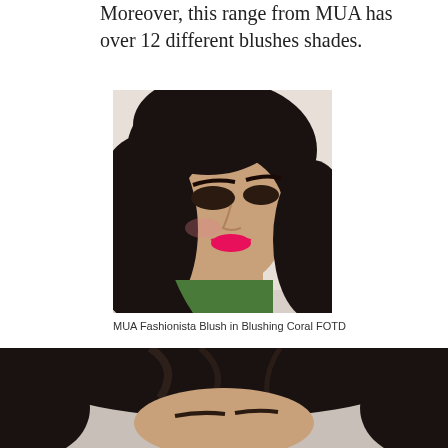Moreover, this range from MUA has over 12 different blushes shades.
[Figure (photo): Portrait photo of a woman with dark hair, dramatic smoky eye makeup, pink lips, wearing makeup with blush applied — MUA Fashionista Blush in Blushing Coral FOTD]
MUA Fashionista Blush in Blushing Coral FOTD
[Figure (photo): Partial portrait photo of a person with dark hair, cropped to show top of head and beginning of face]